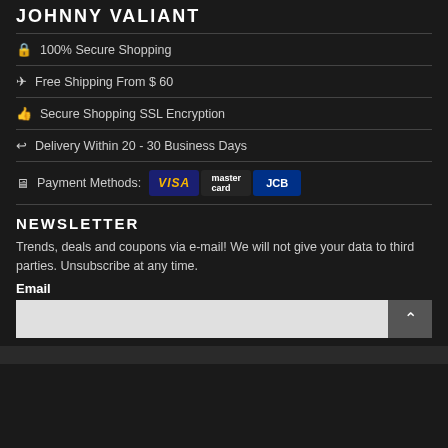JOHNNY VALIANT
🔒 100% Secure Shopping
✈ Free Shipping From $ 60
👍 Secure Shopping SSL Encryption
↩ Delivery Within 20 - 30 Business Days
🖥 Payment Methods: VISA MasterCard JCB
NEWSLETTER
Trends, deals and coupons via e-mail! We will not give your data to third parties. Unsubscribe at any time.
Email